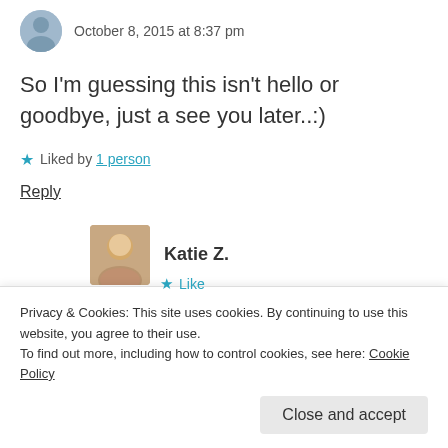October 8, 2015 at 8:37 pm
So I'm guessing this isn't hello or goodbye, just a see you later..:)
★ Liked by 1 person
Reply
Katie Z.
Privacy & Cookies: This site uses cookies. By continuing to use this website, you agree to their use. To find out more, including how to control cookies, see here: Cookie Policy
Close and accept
★ Like